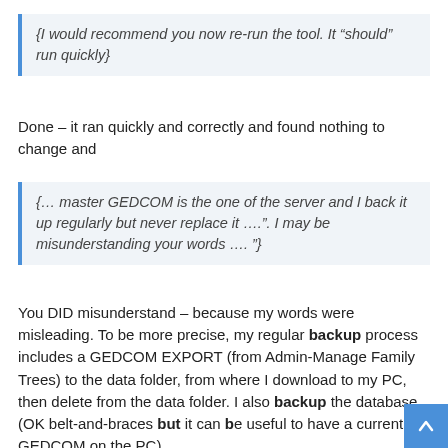{I would recommend you now re-run the tool. It “should” run quickly}
Done – it ran quickly and correctly and found nothing to change and
{… master GEDCOM is the one of the server and I back it up regularly but never replace it ….”. I may be misunderstanding your words …. ”}
You DID misunderstand – because my words were misleading. To be more precise, my regular backup process includes a GEDCOM EXPORT (from Admin-Manage Family Trees) to the data folder, from where I download to my PC, then delete from the data folder. I also backup the database (OK belt-and-braces but it can be useful to have a current GEDCOM on the PC).